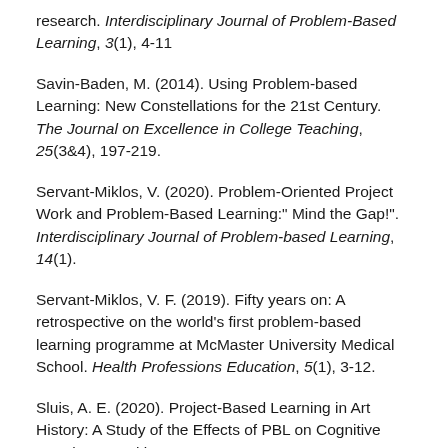research. Interdisciplinary Journal of Problem-Based Learning, 3(1), 4-11
Savin-Baden, M. (2014). Using Problem-based Learning: New Constellations for the 21st Century. The Journal on Excellence in College Teaching, 25(3&4), 197-219.
Servant-Miklos, V. (2020). Problem-Oriented Project Work and Problem-Based Learning:" Mind the Gap!". Interdisciplinary Journal of Problem-based Learning, 14(1).
Servant-Miklos, V. F. (2019). Fifty years on: A retrospective on the world's first problem-based learning programme at McMaster University Medical School. Health Professions Education, 5(1), 3-12.
Sluis, A. E. (2020). Project-Based Learning in Art History: A Study of the Effects of PBL on Cognitive Developmental in a